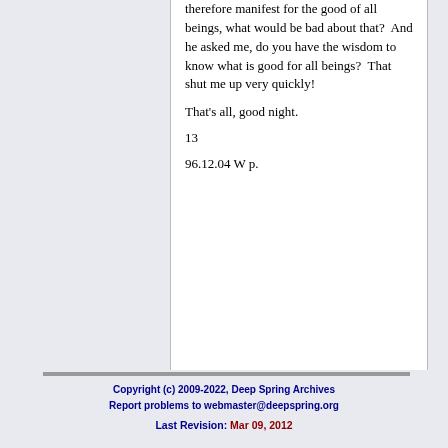therefore manifest for the good of all beings, what would be bad about that?  And he asked me, do you have the wisdom to know what is good for all beings?  That shut me up very quickly!
That's all, good night.
13
96.12.04 W p.
Copyright (c) 2009-2022, Deep Spring Archives
Report problems to webmaster@deepspring.org

Last Revision: Mar 09, 2012